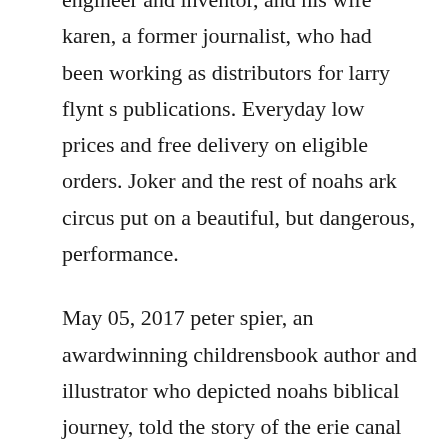engineer and inventor, and his wife karen, a former journalist, who had been working as distributors for larry flynt s publications. Everyday low prices and free delivery on eligible orders. Joker and the rest of noahs ark circus put on a beautiful, but dangerous, performance.
May 05, 2017 peter spier, an awardwinning childrensbook author and illustrator who depicted noahs biblical journey, told the story of the erie canal to the words of the song low bridge, everybody. With showbiz excitement